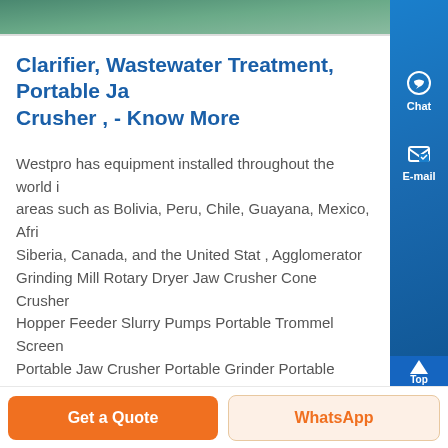[Figure (photo): Partial image of equipment/machinery at the top of the page, showing green/teal tones]
Clarifier, Wastewater Treatment, Portable Jaw Crusher , - Know More
Westpro has equipment installed throughout the world in areas such as Bolivia, Peru, Chile, Guayana, Mexico, Africa, Siberia, Canada, and the United Stat , Agglomerator Grinding Mill Rotary Dryer Jaw Crusher Cone Crusher Hopper Feeder Slurry Pumps Portable Trommel Screen Portable Jaw Crusher Portable Grinder Portable Feed Hopper Portable ....